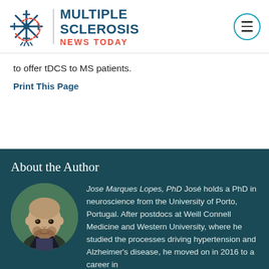Multiple Sclerosis News Today
to offer tDCS to MS patients.
Print This Page
About the Author
[Figure (photo): Headshot of Jose Marques Lopes, PhD — bald man with beard, circular crop]
Jose Marques Lopes, PhD José holds a PhD in neuroscience from the University of Porto, Portugal. After postdocs at Weill Connell Medicine and Western University, where he studied the processes driving hypertension and Alzheimer's disease, he moved on in 2016 to a career in